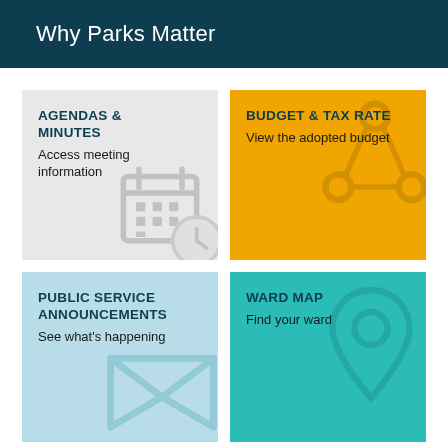Why Parks Matter
[Figure (infographic): Four navigation tiles: Agendas & Minutes (gray), Budget & Tax Rate (orange/yellow), Public Service Announcements (light blue), Ward Map (teal). Each tile has a title, subtitle, and background icon.]